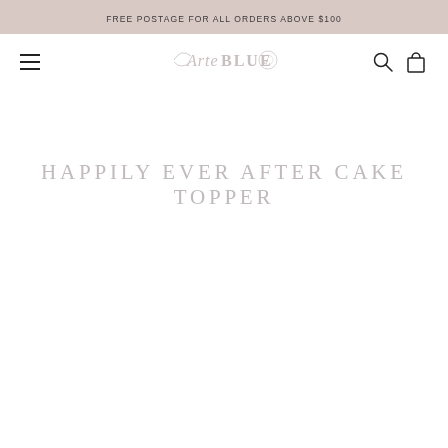FREE POSTAGE FOR ALL ORDERS ABOVE $100
[Figure (logo): Arte Blue brand logo in light grey italic/serif font with decorative flourishes]
HAPPILY EVER AFTER CAKE TOPPER